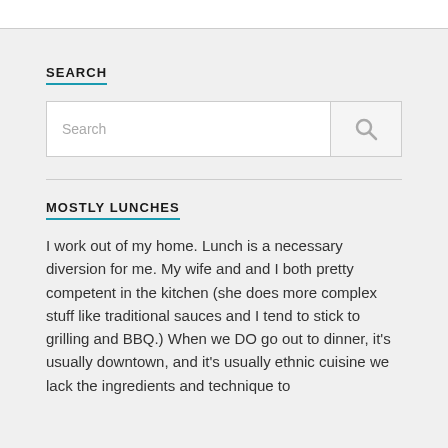SEARCH
[Figure (screenshot): Search input box with placeholder text 'Search' and a search icon button on the right]
MOSTLY LUNCHES
I work out of my home. Lunch is a necessary diversion for me. My wife and and I both pretty competent in the kitchen (she does more complex stuff like traditional sauces and I tend to stick to grilling and BBQ.) When we DO go out to dinner, it's usually downtown, and it's usually ethnic cuisine we lack the ingredients and technique to